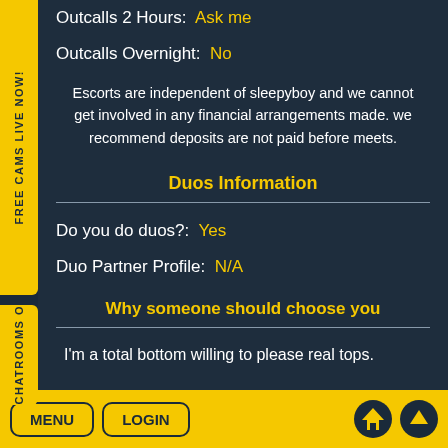Outcalls 2 Hours:  Ask me
Outcalls Overnight:  No
Escorts are independent of sleepyboy and we cannot get involved in any financial arrangements made. we recommend deposits are not paid before meets.
Duos Information
Do you do duos?:  Yes
Duo Partner Profile:  N/A
Why someone should choose you
I'm a total bottom willing to please real tops.
FREE CAMS LIVE NOW!
Chatrooms O
MENU  LOGIN